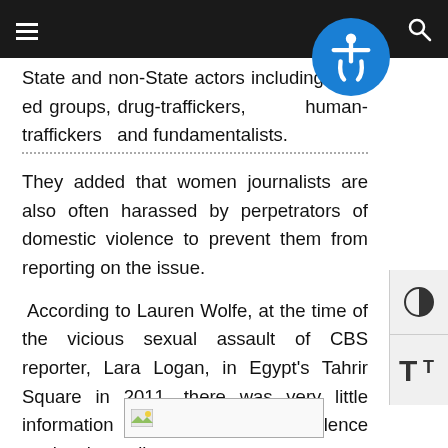navigation bar with hamburger menu and search icon
State and non-State actors including armed groups, drug-traffickers, human-traffickers and fundamentalists.
They added that women journalists are also often harassed by perpetrators of domestic violence to prevent them from reporting on the issue.
According to Lauren Wolfe, at the time of the vicious sexual assault of CBS reporter, Lara Logan, in Egypt's Tahrir Square in 2011, there was very little information on sexualised violence against journalists.
[Figure (photo): Broken/placeholder image thumbnail at bottom center of page]